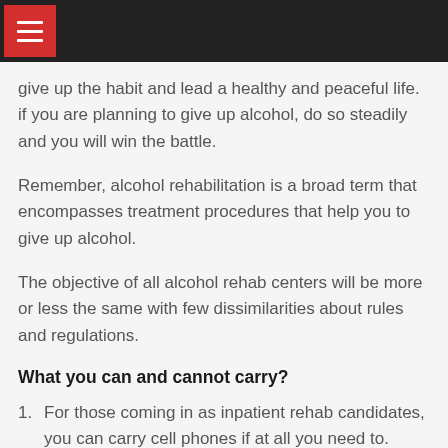give up the habit and lead a healthy and peaceful life. if you are planning to give up alcohol, do so steadily and you will win the battle.
Remember, alcohol rehabilitation is a broad term that encompasses treatment procedures that help you to give up alcohol.
The objective of all alcohol rehab centers will be more or less the same with few dissimilarities about rules and regulations.
What you can and cannot carry?
For those coming in as inpatient rehab candidates, you can carry cell phones if at all you need to.
In most of the centers, you will not be allowed to